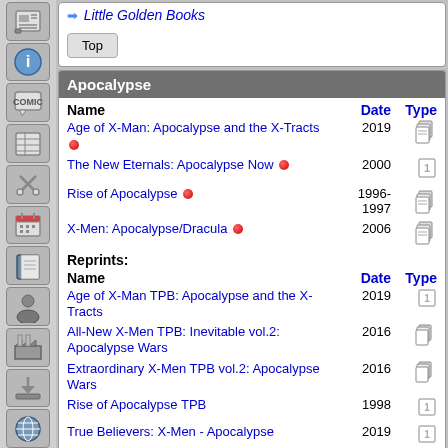Little Golden Books
Top (button)
Apocalypse
| Name | Date | Type |
| --- | --- | --- |
| Age of X-Man: Apocalypse and the X-Tracts | 2019 | multi-issue |
| The New Eternals: Apocalypse Now | 2000 | single |
| Rise of Apocalypse | 1996-1997 | multi-issue |
| X-Men: Apocalypse/Dracula | 2006 | multi-issue |
Reprints:
| Name | Date | Type |
| --- | --- | --- |
| Age of X-Man TPB: Apocalypse and the X-Tracts | 2019 | single |
| All-New X-Men TPB: Inevitable vol.2: Apocalypse Wars | 2016 | multi-issue |
| Extraordinary X-Men TPB vol.2: Apocalypse Wars | 2016 | multi-issue |
| Rise of Apocalypse TPB | 1998 | single |
| True Believers: X-Men - Apocalypse | 2019 | single |
| Ultimate X-Men TPB vol.18: Apocalypse | 2008 | multi-issue |
| Uncanny X-Force: The Apocalypse Solution Must Have | 2011 | single |